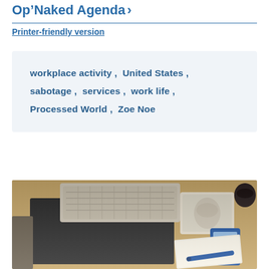Op 'Naked Agenda' ›
Printer-friendly version
workplace activity ,  United States ,  sabotage ,  services ,  work life ,  Processed World ,  Zoe Noe
[Figure (photo): A desk with a keyboard, mouse on a mouse pad, a blue calculator, a notebook with a blue pen, and a dark mug, photographed from above.]